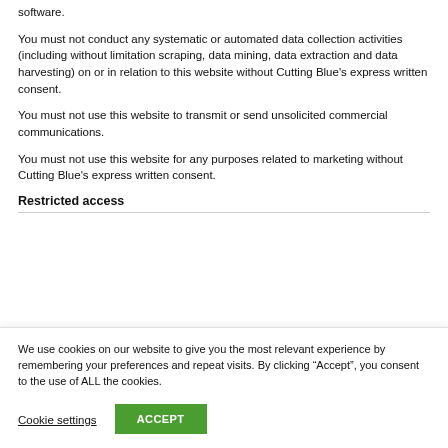software.
You must not conduct any systematic or automated data collection activities (including without limitation scraping, data mining, data extraction and data harvesting) on or in relation to this website without Cutting Blue's express written consent.
You must not use this website to transmit or send unsolicited commercial communications.
You must not use this website for any purposes related to marketing without Cutting Blue's express written consent.
Restricted access
We use cookies on our website to give you the most relevant experience by remembering your preferences and repeat visits. By clicking “Accept”, you consent to the use of ALL the cookies.
Cookie settings
ACCEPT